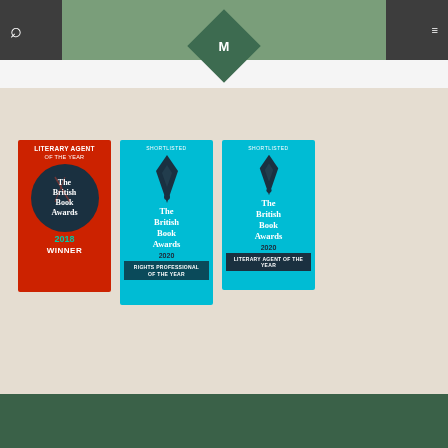d news to share!
[Figure (logo): MN diamond logo on sage green background with dark navigation bar, search icon, and hamburger menu icon]
[Figure (illustration): British Book Awards 2018 Literary Agent of the Year WINNER badge - red background with dark circle]
[Figure (illustration): British Book Awards 2020 Shortlisted Rights Professional of the Year badge - teal background]
[Figure (illustration): British Book Awards 2020 Shortlisted Literary Agent of the Year badge - teal background]